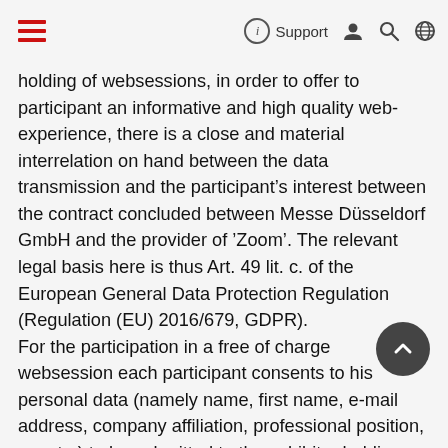☰  ⓘ Support 👤 🔍 🌐
holding of websessions, in order to offer to participant an informative and high quality web-experience, there is a close and material interrelation on hand between the data transmission and the participants interest between the contract concluded between Messe Düsseldorf GmbH and the provider of Zoom. The relevant legal basis here is thus Art. 49 lit. c. of the European General Data Protection Regulation (Regulation (EU) 2016/679, GDPR).
For the participation in a free of charge websession each participant consents to his personal data (namely name, first name, e-mail address, company affiliation, professional position, country) to be submitted to the exhibitor holding the respective websession, in particular for said exhibitors own marketing purposes. We base this processing of personal data on Article 6 section 1 letter a. (if the exhibitor is based in a third country with adequacy decision in conjunction with Art. 49 section 1 lit. a. ) of the European General Data Protection Regulation (Regulation (EU) 2016/679, GDPR).